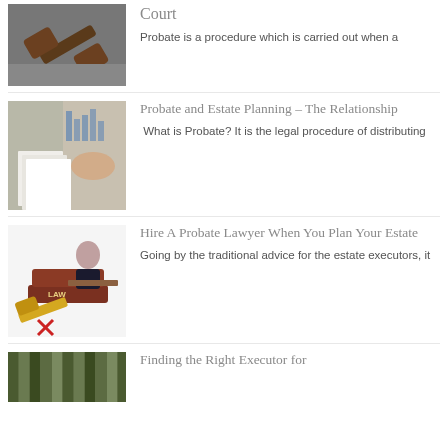[Figure (photo): Close-up of a wooden gavel on a dark surface]
Court
Probate is a procedure which is carried out when a
[Figure (photo): Person reviewing documents at a desk with charts in background]
Probate and Estate Planning – The Relationship
What is Probate? It is the legal procedure of distributing
[Figure (illustration): Illustration of a probate lawyer with law books and gavel]
Hire A Probate Lawyer When You Plan Your Estate
Going by the traditional advice for the estate executors, it
[Figure (photo): Row of green law books on a shelf]
Finding the Right Executor for